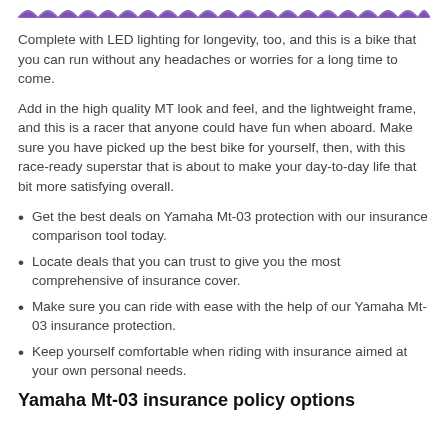[Figure (illustration): Decorative purple wave/scallop pattern banner across the top of the page]
Complete with LED lighting for longevity, too, and this is a bike that you can run without any headaches or worries for a long time to come.
Add in the high quality MT look and feel, and the lightweight frame, and this is a racer that anyone could have fun when aboard. Make sure you have picked up the best bike for yourself, then, with this race-ready superstar that is about to make your day-to-day life that bit more satisfying overall.
Get the best deals on Yamaha Mt-03 protection with our insurance comparison tool today.
Locate deals that you can trust to give you the most comprehensive of insurance cover.
Make sure you can ride with ease with the help of our Yamaha Mt-03 insurance protection.
Keep yourself comfortable when riding with insurance aimed at your own personal needs.
Yamaha Mt-03 insurance policy options